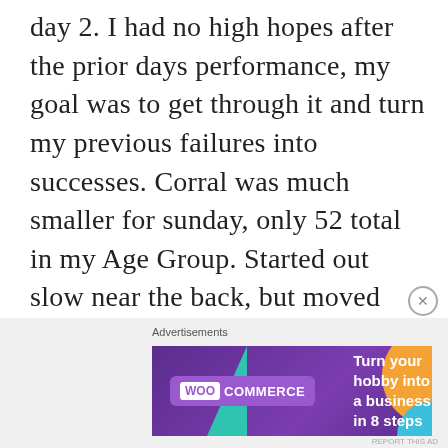day 2. I had no high hopes after the prior days performance, my goal was to get through it and turn my previous failures into successes. Corral was much smaller for sunday, only 52 total in my Age Group. Started out slow near the back, but moved along at a pretty steady pace. Legs were sore but not bad surprisingly. Was worried about that after having issues at the last few races. Thinking the 2 week break definitely helped. Got to Twister, made sure to take my time and breathe, and I got through it with no issue. Kinda
[Figure (other): WooCommerce advertisement banner: 'Turn your hobby into a business in 8 steps' with purple background, teal and orange geometric shapes]